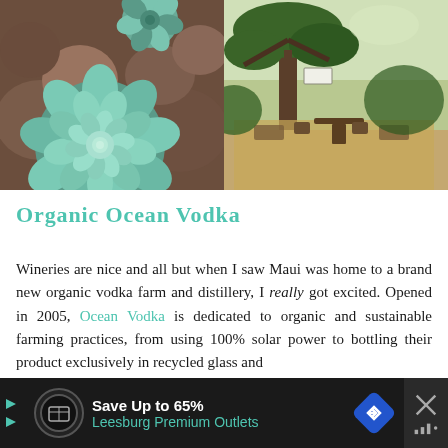[Figure (photo): Left photo: Close-up of blue-green succulent plants among dark brown rocks]
[Figure (photo): Right photo: Outdoor garden/patio area with large tree, wooden chairs and tables, in a sunny landscape]
Organic Ocean Vodka
Wineries are nice and all but when I saw Maui was home to a brand new organic vodka farm and distillery, I really got excited. Opened in 2005, Ocean Vodka is dedicated to organic and sustainable farming practices, from using 100% solar power to bottling their product exclusively in recycled glass and
Save Up to 65% Leesburg Premium Outlets